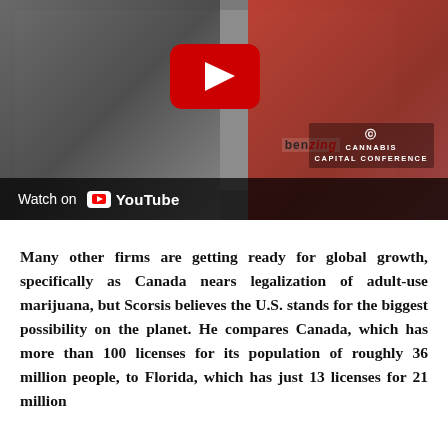[Figure (screenshot): YouTube video thumbnail showing two people at a Cannabis Capital Conference event — a man in a grey suit on the left and a woman in a red jacket holding a microphone on the right. A YouTube play button is visible in the center. 'Watch on YouTube' bar appears at the bottom of the video frame.]
Many other firms are getting ready for global growth, specifically as Canada nears legalization of adult-use marijuana, but Scorsis believes the U.S. stands for the biggest possibility on the planet. He compares Canada, which has more than 100 licenses for its population of roughly 36 million people, to Florida, which has just 13 licenses for 21 million